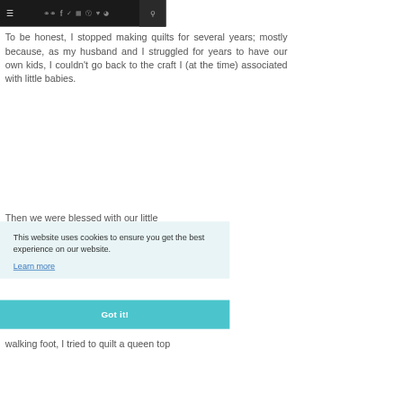≡  [icons: chat, f, twitter, instagram, pinterest, heart, rss]  [search icon]
To be honest, I stopped making quilts for several years; mostly because, as my husband and I struggled for years to have our own kids, I couldn't go back to the craft I (at the time) associated with little babies.
Then we were blessed with our little
This website uses cookies to ensure you get the best experience on our website. Learn more
Got it!
walking foot, I tried to quilt a queen top